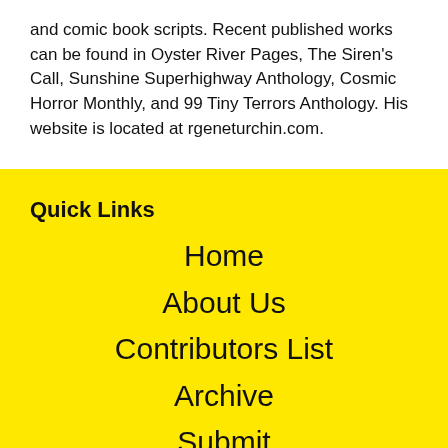and comic book scripts. Recent published works can be found in Oyster River Pages, The Siren's Call, Sunshine Superhighway Anthology, Cosmic Horror Monthly, and 99 Tiny Terrors Anthology. His website is located at rgeneturchin.com.
Quick Links
Home
About Us
Contributors List
Archive
Submit